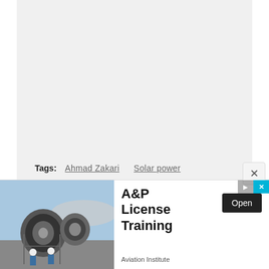[Figure (other): Large gray empty content area at top of page, representing a scrolled article body with no visible text content in this portion.]
Tags:  Ahmad Zakari    Solar power
[Figure (screenshot): Advertisement banner showing an airplane jet engine with two workers in hard hats. Text reads 'A&P License Training' with an 'Open' button and 'Aviation Institute' subtitle. Has play and close controls in top right.]